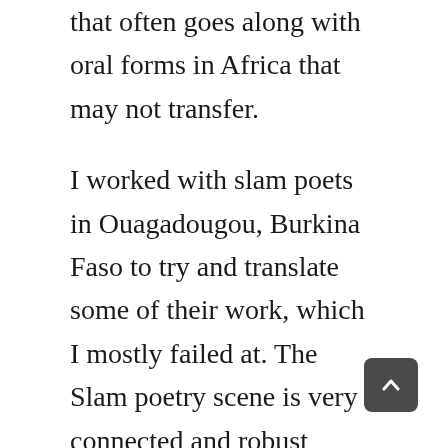that often goes along with oral forms in Africa that may not transfer.
I worked with slam poets in Ouagadougou, Burkina Faso to try and translate some of their work, which I mostly failed at. The Slam poetry scene is very connected and robust across West Africa, even across languages. Declamation does not require access to publishers, nor a “high” literary education. There is less gatekeeping. One consequence is that there are many more women involved than in written poetry. But the poems often serve a function—they are a site of public discourse. So the references are, again, often too